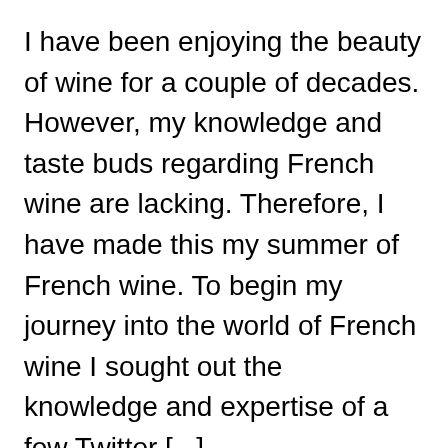I have been enjoying the beauty of wine for a couple of decades. However, my knowledge and taste buds regarding French wine are lacking. Therefore, I have made this my summer of French wine. To begin my journey into the world of French wine I sought out the knowledge and expertise of a few Twitter [...]
July 10, 2014
South African Wine is So Fine